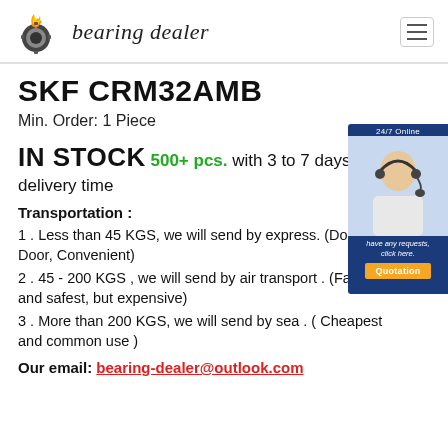bearing dealer
SKF CRM32AMB
Min. Order: 1 Piece
IN STOCK 500+ pcs. with 3 to 7 days delivery time
[Figure (photo): Customer service agent, 24/7 Online banner with Quotation button]
Transportation :
1 . Less than 45 KGS, we will send by express. (Door to Door, Convenient)
2 . 45 - 200 KGS , we will send by air transport . (Fastest and safest, but expensive)
3 . More than 200 KGS, we will send by sea . ( Cheapest and common use )
Our email: bearing-dealer@outlook.com